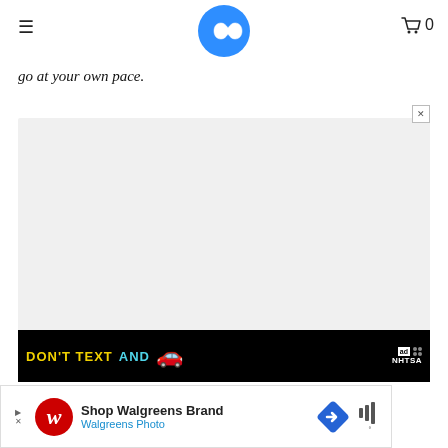Navigation header with logo, hamburger menu, and cart icon showing 0
go at your own pace.
[Figure (screenshot): Gray advertisement placeholder box with NHTSA 'Don't Text And Drive' banner ad showing yellow and cyan text on black background with a red car emoji, ad label, and close X button]
[Figure (screenshot): Walgreens advertisement banner: Shop Walgreens Brand / Walgreens Photo with Walgreens W logo, blue direction sign icon, and a sound/audio icon on the right]